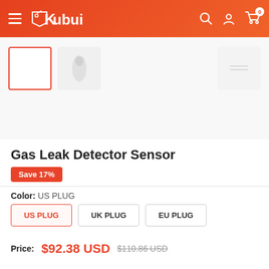Kubui
[Figure (screenshot): Product thumbnail images of Gas Leak Detector Sensor — one selected thumbnail with red border on the left, additional faded product photos to the right]
Gas Leak Detector Sensor
Save 17%
Color: US PLUG
US PLUG | UK PLUG | EU PLUG
Price: $92.38 USD  $110.86 USD